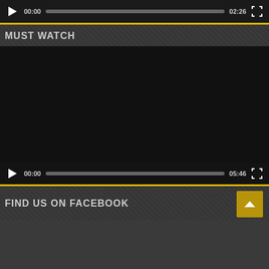[Figure (screenshot): Video player control bar showing play button, time 00:00, progress bar, duration 02:26, and fullscreen button on dark background]
MUST WATCH
[Figure (screenshot): Dark video player area with control bar at bottom showing play button, time 00:00, progress bar, duration 05:46, and fullscreen button]
FIND US ON FACEBOOK